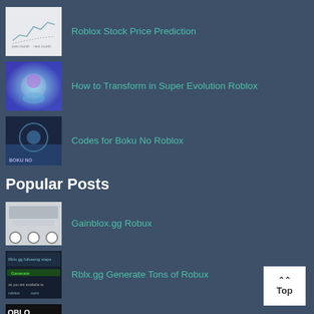Roblox Stock Price Prediction
How to Transform in Super Evolution Roblox
Codes for Boku No Roblox
Popular Posts
Gainblox.gg Robux
Rblx.gg Generate Tons of Robux
How To Get Free Robux No Verification
OPRewards
Free Robux Generator No Survey